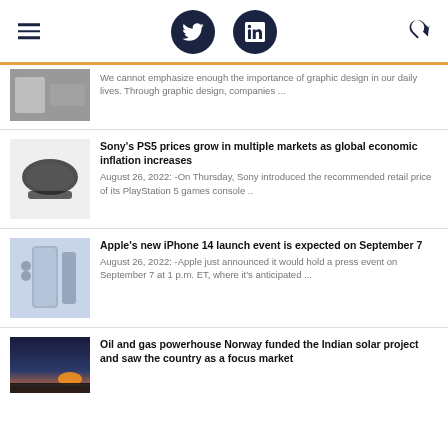Navigation bar with hamburger menu, Twitter icon, LinkedIn icon, search icon
We cannot emphasize enough the importance of graphic design in our daily lives. Through graphic design, companies ...
Sony's PS5 prices grow in multiple markets as global economic inflation increases
August 26, 2022: -On Thursday, Sony introduced the recommended retail price of its PlayStation 5 games console ..
Apple's new iPhone 14 launch event is expected on September 7
August 26, 2022: -Apple just announced it would hold a press event on September 7 at 1 p.m. ET, where it's anticipated ...
Oil and gas powerhouse Norway funded the Indian solar project and saw the country as a focus market